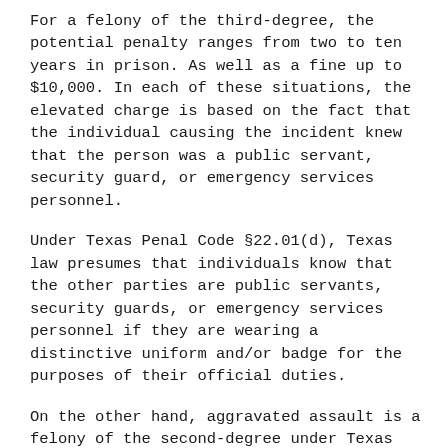For a felony of the third-degree, the potential penalty ranges from two to ten years in prison. As well as a fine up to $10,000. In each of these situations, the elevated charge is based on the fact that the individual causing the incident knew that the person was a public servant, security guard, or emergency services personnel.
Under Texas Penal Code §22.01(d), Texas law presumes that individuals know that the other parties are public servants, security guards, or emergency services personnel if they are wearing a distinctive uniform and/or badge for the purposes of their official duties.
On the other hand, aggravated assault is a felony of the second-degree under Texas law. However, aggravated assault can also be a felony of the first-degree under some circumstances.
This is the case when the individual is a public servant acting in an official capacity, the alleged victim is a public servant